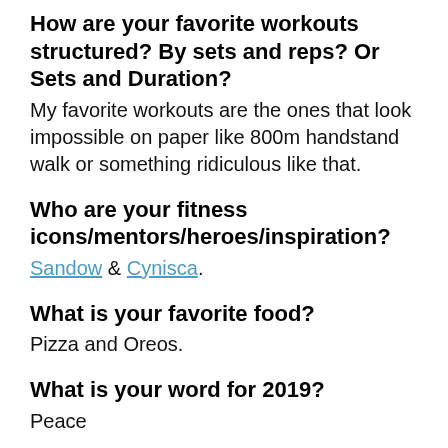How are your favorite workouts structured? By sets and reps? Or Sets and Duration?
My favorite workouts are the ones that look impossible on paper like 800m handstand walk or something ridiculous like that.
Who are your fitness icons/mentors/heroes/inspiration?
Sandow & Cynisca.
What is your favorite food?
Pizza and Oreos.
What is your word for 2019?
Peace
What's your go-to song or artist at the